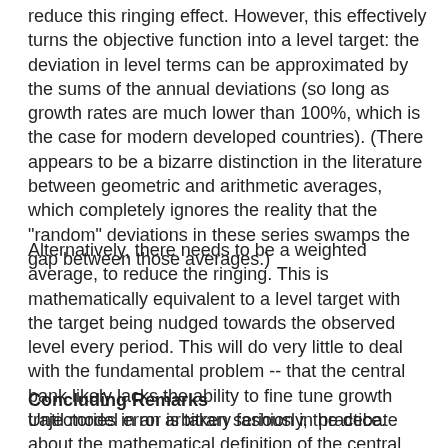reduce this ringing effect. However, this effectively turns the objective function into a level target: the deviation in level terms can be approximated by the sums of the annual deviations (so long as growth rates are much lower than 100%, which is the case for modern developed countries). (There appears to be a bizarre distinction in the literature between geometric and arithmetic averages, which completely ignores the reality that the "random" deviations in these series swamps the gap between those averages.)
Alternatively, there needs to be a weighted average, to reduce the ringing. This is mathematically equivalent to a level target with the target being nudged towards the observed level every period. This will do very little to deal with the fundamental problem -- that the central bank likely lacks the ability to fine tune growth trajectories in an arbitrary fashion in practice.
Concluding Remarks
Until model error is taken seriously, the debate about the mathematical definition of the central bank target is very much akin to debating the number of angels that can dance on the head of a pin.